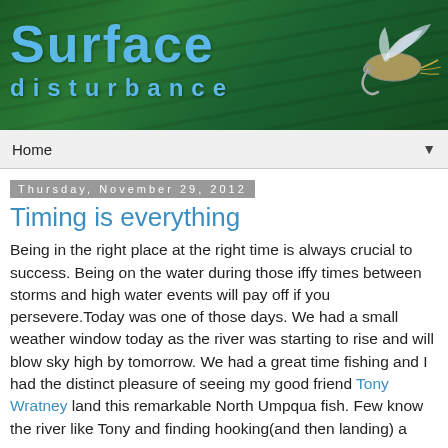[Figure (illustration): Website header banner with dark green background, large blue 'Surface' text and 'DISTURBANCE' subtitle in blue, and a fishing fly image on the right side]
Home ▼
Thursday, November 29, 2012
Timing is everything
Being in the right place at the right time is always crucial to success. Being on the water during those iffy times between storms and high water events will pay off if you persevere.Today was one of those days. We had a small weather window today as the river was starting to rise and will blow sky high by tomorrow. We had a great time fishing and I had the distinct pleasure of seeing my good friend Tony Wratney land this remarkable North Umpqua fish. Few know the river like Tony and finding hooking(and then landing) a